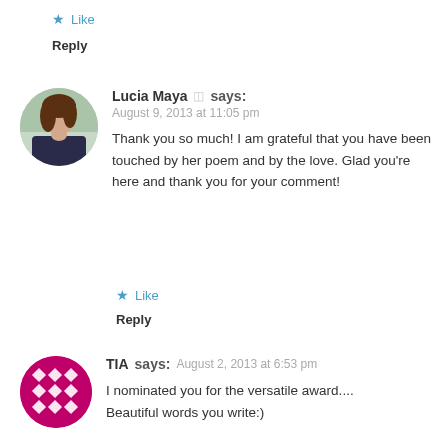Like
Reply
Lucia Maya says: August 9, 2013 at 11:05 pm
Thank you so much! I am grateful that you have been touched by her poem and by the love. Glad you're here and thank you for your comment!
Like
Reply
TIA says: August 2, 2013 at 6:53 pm
I nominated you for the versatile award.... Beautiful words you write:)